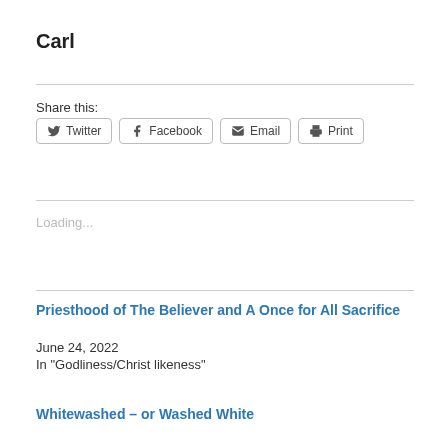Carl
Share this:
Twitter  Facebook  Email  Print
Loading...
Priesthood of The Believer and A Once for All Sacrifice
June 24, 2022
In "Godliness/Christ likeness"
Whitewashed – or Washed White